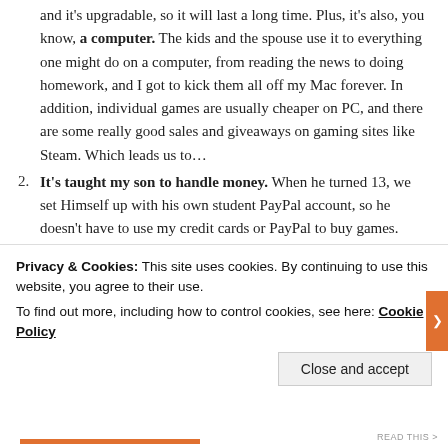and it's upgradable, so it will last a long time. Plus, it's also, you know, a computer. The kids and the spouse use it to everything one might do on a computer, from reading the news to doing homework, and I got to kick them all off my Mac forever. In addition, individual games are usually cheaper on PC, and there are some really good sales and giveaways on gaming sites like Steam. Which leads us to…
It's taught my son to handle money. When he turned 13, we set Himself up with his own student PayPal account, so he doesn't have to use my credit cards or PayPal to buy games. Between his little allowance, which is deposited to his PayPal every payday (a surprise reward for keeping his room neat and making his chores a regular habit), the occasional cast
Privacy & Cookies: This site uses cookies. By continuing to use this website, you agree to their use.
To find out more, including how to control cookies, see here: Cookie Policy